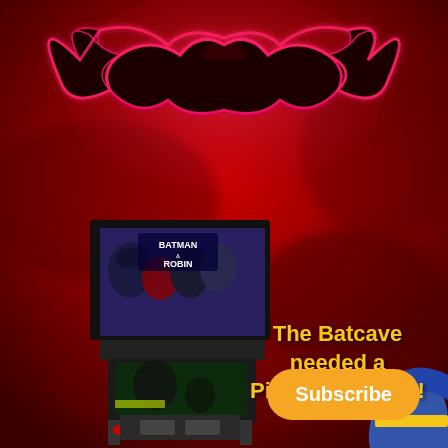[Figure (illustration): Batman & Robin pinball machine against a deep red smoky background with a large glowing pink/red Batman logo (bat symbol) at the top. The pinball machine is black with a backglass showing Batman and Robin movie characters. A partial blue Batman figure is visible at bottom right.]
The Batcave needed a Pinball machine!
Subscribe